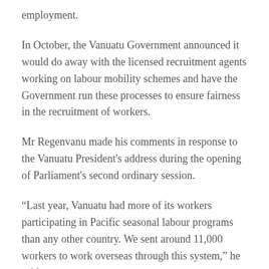employment.
In October, the Vanuatu Government announced it would do away with the licensed recruitment agents working on labour mobility schemes and have the Government run these processes to ensure fairness in the recruitment of workers.
Mr Regenvanu made his comments in response to the Vanuatu President's address during the opening of Parliament's second ordinary session.
“Last year, Vanuatu had more of its workers participating in Pacific seasonal labour programs than any other country. We sent around 11,000 workers to work overseas through this system,” he said.
“Now is not the time to play around with the system that